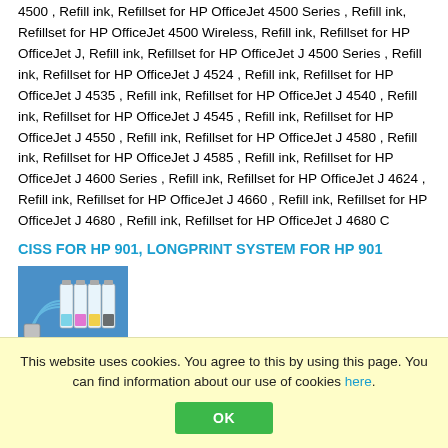4500 , Refill ink, Refillset for HP OfficeJet 4500 Series , Refill ink, Refillset for HP OfficeJet 4500 Wireless, Refill ink, Refillset for HP OfficeJet J, Refill ink, Refillset for HP OfficeJet J 4500 Series , Refill ink, Refillset for HP OfficeJet J 4524 , Refill ink, Refillset for HP OfficeJet J 4535 , Refill ink, Refillset for HP OfficeJet J 4540 , Refill ink, Refillset for HP OfficeJet J 4545 , Refill ink, Refillset for HP OfficeJet J 4550 , Refill ink, Refillset for HP OfficeJet J 4580 , Refill ink, Refillset for HP OfficeJet J 4585 , Refill ink, Refillset for HP OfficeJet J 4600 Series , Refill ink, Refillset for HP OfficeJet J 4624 , Refill ink, Refillset for HP OfficeJet J 4660 , Refill ink, Refillset for HP OfficeJet J 4680 , Refill ink, Refillset for HP OfficeJet J 4680 C
CISS FOR HP 901, LONGPRINT SYSTEM FOR HP 901
[Figure (photo): Photo of a CISS (Continuous Ink Supply System) with multiple ink tanks and tubing, on a blue background]
CISS, LONGPRINT SYSTEM FOR HP OfficeJet - CISS, LONGPRINT...
This website uses cookies. You agree to this by using this page. You can find information about our use of cookies here.